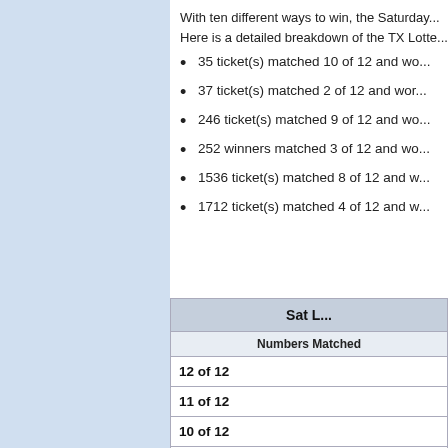With ten different ways to win, the Saturday... Here is a detailed breakdown of the TX Lotte...
35 ticket(s) matched 10 of 12 and wo...
37 ticket(s) matched 2 of 12 and wor...
246 ticket(s) matched 9 of 12 and wo...
252 winners matched 3 of 12 and wo...
1536 ticket(s) matched 8 of 12 and w...
1712 ticket(s) matched 4 of 12 and w...
| Sat L... | Numbers Matched |
| --- | --- |
| 12 of 12 |  |
| 11 of 12 |  |
| 10 of 12 |  |
| 9 of 12 |  |